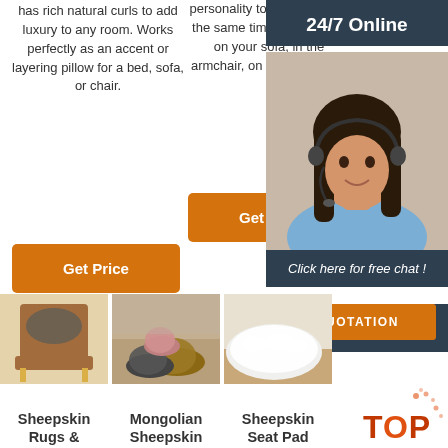has rich natural curls to add luxury to any room. Works perfectly as an accent or layering pillow for a bed, sofa, or chair.
personality to your space at the same time. Place them on your sofa, in the armchair, on the floor as …
Get Price
Get Price
24/7 Online
[Figure (photo): Customer service representative woman with headset smiling]
Click here for free chat !
QUOTATION
[Figure (photo): Brown leather armchair with dark sheepskin pillow]
[Figure (photo): Mongolian sheepskin slippers/shoes on a rug]
[Figure (photo): White sheepskin seat pad on floor]
Sheepskin Rugs &
Mongolian Sheepskin
Sheepskin Seat Pad